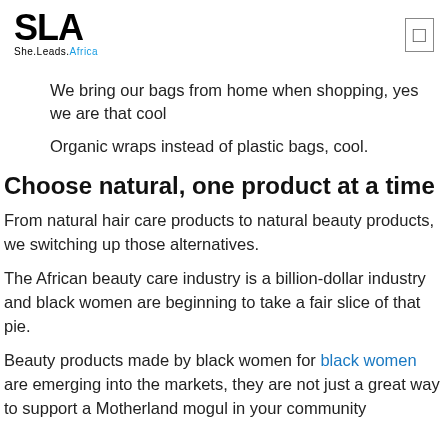SLA She.Leads.Africa
We bring our bags from home when shopping, yes we are that cool
Organic wraps instead of plastic bags, cool.
Choose natural, one product at a time
From natural hair care products to natural beauty products, we switching up those alternatives.
The African beauty care industry is a billion-dollar industry and black women are beginning to take a fair slice of that pie.
Beauty products made by black women for black women are emerging into the markets, they are not just a great way to support a Motherland mogul in your community